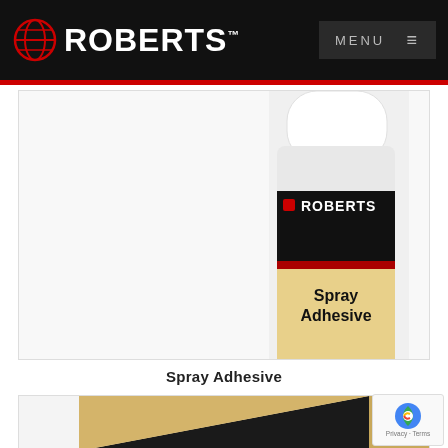ROBERTS | MENU
[Figure (photo): Roberts Spray Adhesive aerosol can with white cap, black label reading ROBERTS and yellow label reading Spray Adhesive]
Spray Adhesive
[Figure (photo): Corner of a tan/brown sandpaper or backing board product partially visible at bottom of page]